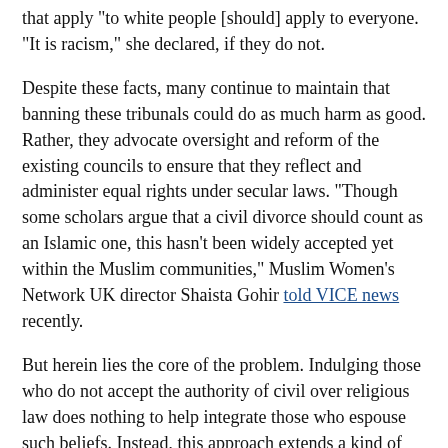...fundamentally part in bringing the tribunals, argued that laws that apply "to white people [should] apply to everyone. "It is racism," she declared, if they do not.
Despite these facts, many continue to maintain that banning these tribunals could do as much harm as good. Rather, they advocate oversight and reform of the existing councils to ensure that they reflect and administer equal rights under secular laws. "Though some scholars argue that a civil divorce should count as an Islamic one, this hasn't been widely accepted yet within the Muslim communities," Muslim Women's Network UK director Shaista Gohir told VICE news recently.
But herein lies the core of the problem. Indulging those who do not accept the authority of civil over religious law does nothing to help integrate those who espouse such beliefs. Instead, this approach extends a kind of exceptionalism to Muslims, especially fundamentalist Muslims, permitting them to exist outside of civil law, while lending support to radical beliefs that the laws of the land do not apply to them: only sharia does.
True, as Namazie has observed, "Abolishing Sharia courts and parallel legal systems will not solve all the problems at hand; criminalising FGM or domestic violence has not ended them either. It will however make very clear what is acceptable and what is not and will underline a commitment to gender equality."